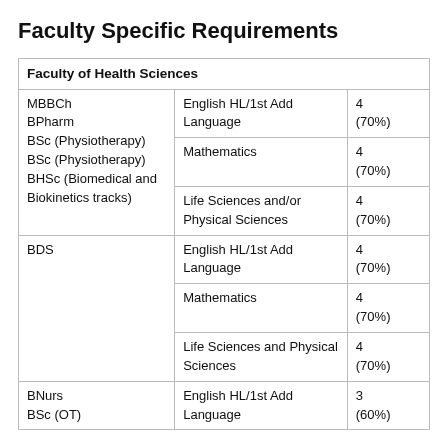Faculty Specific Requirements
|  |  |  |
| --- | --- | --- |
| Faculty of Health Sciences |  |  |
| MBBCh
BPharm
BSc (Physiotherapy)
BSc (Physiotherapy)
BHSc (Biomedical and Biokinetics tracks) | English HL/1st Add Language | 4
(70%) |
|  | Mathematics | 4
(70%) |
|  | Life Sciences and/or Physical Sciences | 4
(70%) |
| BDS | English HL/1st Add Language | 4
(70%) |
|  | Mathematics | 4
(70%) |
|  | Life Sciences and Physical Sciences | 4
(70%) |
| BNurs
BSc (OT) | English HL/1st Add Language | 3
(60%) |